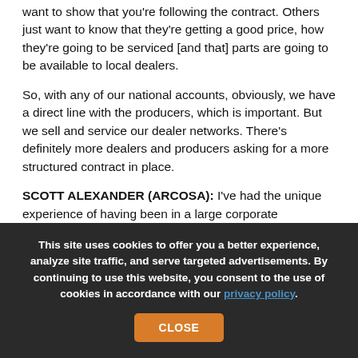want to show that you're following the contract. Others just want to know that they're getting a good price, how they're going to be serviced [and that] parts are going to be available to local dealers.
So, with any of our national accounts, obviously, we have a direct line with the producers, which is important. But we sell and service our dealer networks. There's definitely more dealers and producers asking for a more structured contract in place.
SCOTT ALEXANDER (ARCOSA): I've had the unique experience of having been in a large corporate organization – and [I am] there now – but also for a number of years owning my own mining operations. I was a small producer for a much as...
This site uses cookies to offer you a better experience, analyze site traffic, and serve targeted advertisements. By continuing to use this website, you consent to the use of cookies in accordance with our privacy policy.
CLOSE